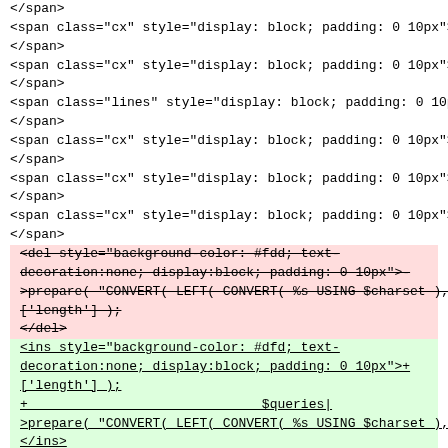Code diff showing HTML span/del/ins elements with display:block and padding styles, including CONVERT LEFT CONVERT %s USING $charset SQL-related code and anchor/div tags